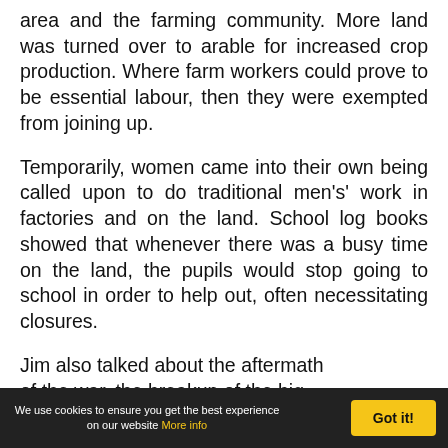area and the farming community. More land was turned over to arable for increased crop production. Where farm workers could prove to be essential labour, then they were exempted from joining up.
Temporarily, women came into their own being called upon to do traditional men's' work in factories and on the land. School log books showed that whenever there was a busy time on the land, the pupils would stop going to school in order to help out, often necessitating closures.
Jim also talked about the aftermath of the war, the breakup of the big
We use cookies to ensure you get the best experience on our website More info